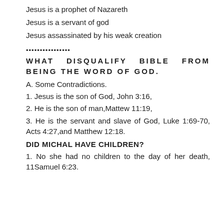Jesus is a prophet of Nazareth
Jesus is a servant of god
Jesus assassinated by his weak creation
••••••••••••••••
WHAT DISQUALIFY BIBLE FROM BEING THE WORD OF GOD.
A. Some Contradictions.
1. Jesus is the son of God, John 3:16,
2. He is the son of man,Mattew 11:19,
3. He is the servant and slave of God, Luke 1:69-70, Acts 4:27,and Matthew 12:18.
DID MICHAL HAVE CHILDREN?
1. No she had no children to the day of her death, 11Samuel 6:23.